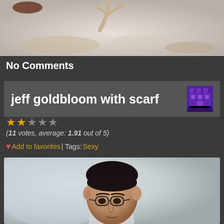[Figure (photo): Top portion of a photo showing a light-colored fuzzy or fluffy surface, possibly a carpet or animal fur]
No Comments
jeff goldbloom with scarf
(11 votes, average: 1.91 out of 5)
Add to favorites | Tags: Sexy
[Figure (photo): Photo of Jeff Goldblum wearing glasses, dark hair slicked back, in a light background setting]